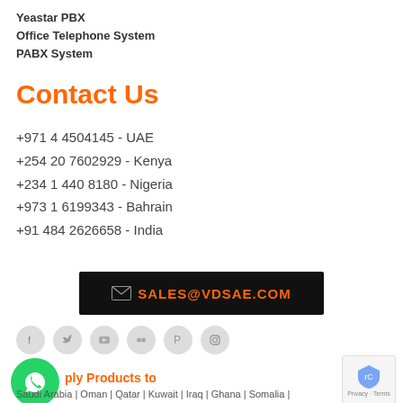Yeastar PBX
Office Telephone System
PABX System
Contact Us
+971  4 4504145  -  UAE
+254 20 7602929 -  Kenya
+234 1 440 8180  -  Nigeria
+973 1 6199343   -  Bahrain
+91 484 2626658 -  India
[Figure (infographic): Black banner with envelope icon and text SALES@VDSAE.COM in orange]
[Figure (infographic): Social media icons: Facebook, Twitter, YouTube, Flickr, Pinterest, Instagram on grey circles]
[Figure (logo): Green circular WhatsApp button with phone icon]
ply Products to
Saudi Arabia | Oman | Qatar | Kuwait | Iraq | Ghana | Somalia |